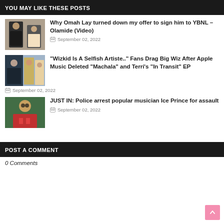YOU MAY LIKE THESE POSTS
Why Omah Lay turned down my offer to sign him to YBNL – Olamide (Video)
September 02, 2022
"Wizkid Is A Selfish Artiste.." Fans Drag Big Wiz After Apple Music Deleted "Machala" and Terri's "In Transit" EP
September 02, 2022
JUST IN: Police arrest popular musician Ice Prince for assault
September 02, 2022
POST A COMMENT
0 Comments